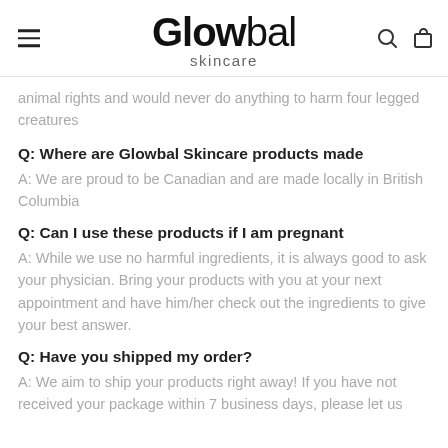Glowbal skincare
animal rights and would never do anything to harm four legged creatures
Q: Where are Glowbal Skincare products made
A: We are proud to be Canadian and are made locally in British Columbia
Q: Can I use these products if I am pregnant
A: While we use no harmful ingredients, it is always good to ask your physician. Bring your products with you at your next appointment and have him/her check out the ingredients to give your best answer.
Q: Have you shipped my order?
A: We aim to ship your products right away! If you have not received your package within 7 business days, please let us